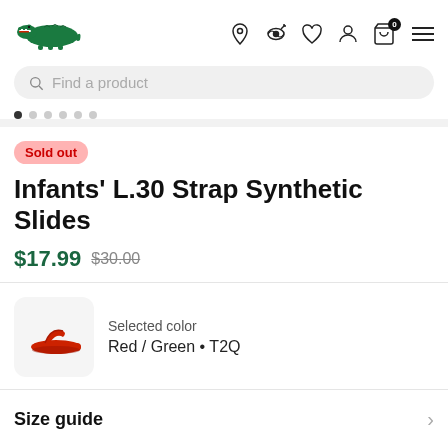[Figure (logo): Lacoste green crocodile logo]
Find a product
Sold out
Infants' L.30 Strap Synthetic Slides
$17.99  $30.00
[Figure (photo): Red Lacoste slide sandal thumbnail on light pink/grey background]
Selected color
Red / Green • T2Q
Size guide